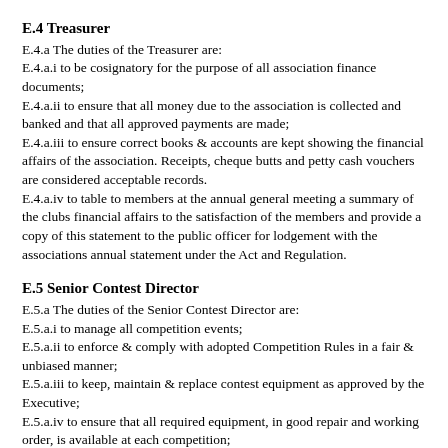E.4 Treasurer
E.4.a The duties of the Treasurer are:
E.4.a.i to be cosignatory for the purpose of all association finance documents;
E.4.a.ii to ensure that all money due to the association is collected and banked and that all approved payments are made;
E.4.a.iii to ensure correct books & accounts are kept showing the financial affairs of the association. Receipts, cheque butts and petty cash vouchers are considered acceptable records.
E.4.a.iv to table to members at the annual general meeting a summary of the clubs financial affairs to the satisfaction of the members and provide a copy of this statement to the public officer for lodgement with the associations annual statement under the Act and Regulation.
E.5 Senior Contest Director
E.5.a The duties of the Senior Contest Director are:
E.5.a.i to manage all competition events;
E.5.a.ii to enforce & comply with adopted Competition Rules in a fair & unbiased manner;
E.5.a.iii to keep, maintain & replace contest equipment as approved by the Executive;
E.5.a.iv to ensure that all required equipment, in good repair and working order, is available at each competition;